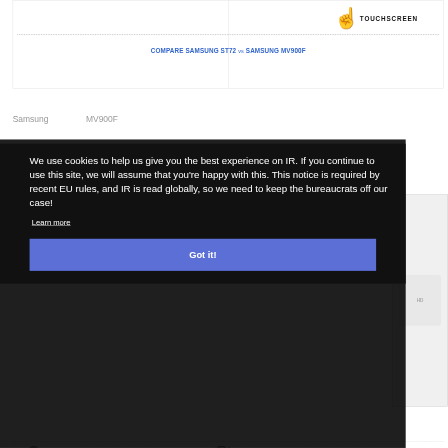[Figure (screenshot): Touchscreen icon with hand pointer and label TOUCHSCREEN in top right area]
COMPARE SAMSUNG ST72 vs SAMSUNG MV900F
We use cookies to help us give you the best experience on IR. If you continue to use this site, we will assume that you're happy with this. This notice is required by recent EU rules, and IR is read globally, so we need to keep the bureaucrats off our case!
Learn more
Got it!
IN-CAMERA IMAGE